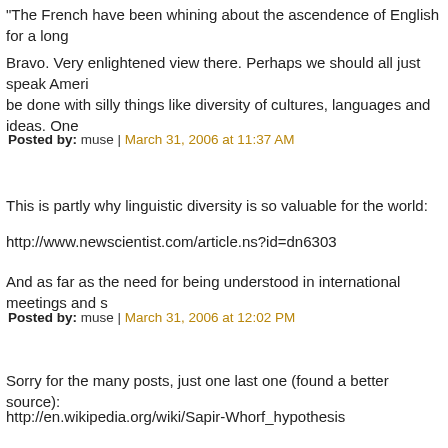"The French have been whining about the ascendence of English for a long...
Bravo. Very enlightened view there. Perhaps we should all just speak Ameri... be done with silly things like diversity of cultures, languages and ideas. One...
Posted by: muse | March 31, 2006 at 11:37 AM
This is partly why linguistic diversity is so valuable for the world:
http://www.newscientist.com/article.ns?id=dn6303
And as far as the need for being understood in international meetings and s...
Posted by: muse | March 31, 2006 at 12:02 PM
Sorry for the many posts, just one last one (found a better source):
http://en.wikipedia.org/wiki/Sapir-Whorf_hypothesis
Posted by: muse | March 31, 2006 at 12:05 PM
What the devil does Chirac's whining have to do with linguistic diversity? Si... language?
The point is that the French language has been just as much of a bully, and...